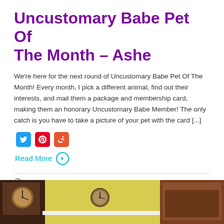Uncustomary Babe Pet Of The Month – Ashe
We're here for the next round of Uncustomary Babe Pet Of The Month! Every month, I pick a different animal, find out their interests, and mail them a package and membership card, making them an honorary Uncustomary Babe Member! The only catch is you have to take a picture of your pet with the card [...]
Read More
in CELEBRATION 03 NOV 2019  0 comments
[Figure (photo): A room interior with wooden clocks and a yellow wall, brown furniture visible on the right]